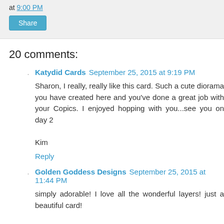at 9:00 PM
Share
20 comments:
Katydid Cards  September 25, 2015 at 9:19 PM
Sharon, I really, really like this card. Such a cute diorama you have created here and you've done a great job with your Copics. I enjoyed hopping with you...see you on day 2

Kim
Reply
Golden Goddess Designs  September 25, 2015 at 11:44 PM
simply adorable! I love all the wonderful layers! just a beautiful card!

Alicia